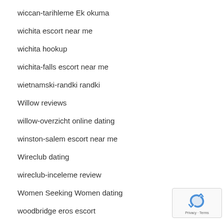wiccan-tarihleme Ek okuma
wichita escort near me
wichita hookup
wichita-falls escort near me
wietnamski-randki randki
Willow reviews
willow-overzicht online dating
winston-salem escort near me
Wireclub dating
wireclub-inceleme review
Women Seeking Women dating
woodbridge eros escort